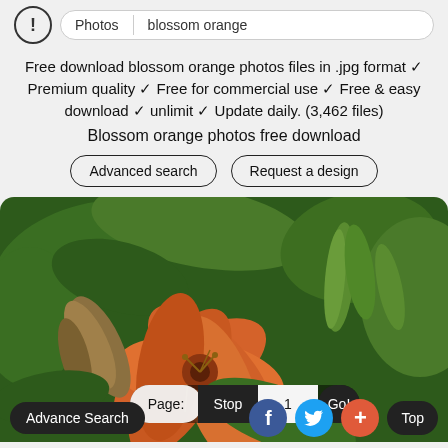Photos | blossom orange
Free download blossom orange photos files in .jpg format ✓ Premium quality ✓ Free for commercial use ✓ Free & easy download ✓ unlimit ✓ Update daily. (3,462 files)
Blossom orange photos free download
Advanced search
Request a design
[Figure (photo): Orange blossom / daylily flower with green buds and foliage in background]
Page: Stop 1 Go!
Advance Search | f | Twitter | + | Top